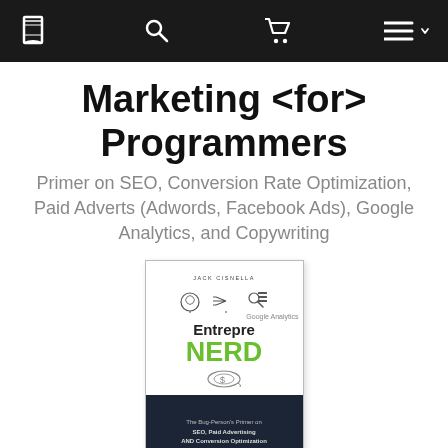Navigation bar with book icon, search icon, cart icon, and menu icon
Marketing <for> Programmers
Primer on SEO, Conversion Rate Optimization, Paid Adverts (Adwords, Facebook Ads), Google Analytics, and Copywriting
[Figure (photo): Book cover for EntrepreNERD showing icons, green NERD text, and dark bottom section with subtitle about SEO, Paid Advertising and Conversion Optimization]